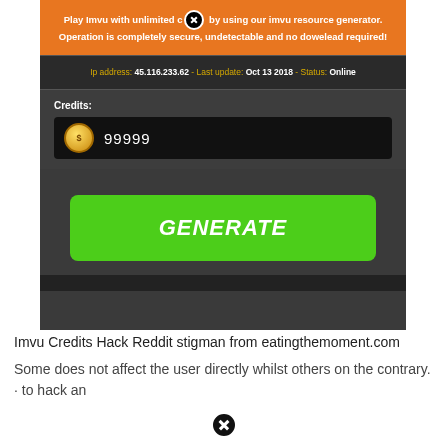[Figure (screenshot): Screenshot of an IMVU credits hack generator webpage showing an orange banner with promotional text, IP address info bar showing '45.116.233.62 - Last update: Oct 13 2018 - Status: Online', a credits field showing 99999, and a green GENERATE button.]
Imvu Credits Hack Reddit stigman from eatingthemoment.com
Some does not affect the user directly whilst others on the contrary. · to hack an